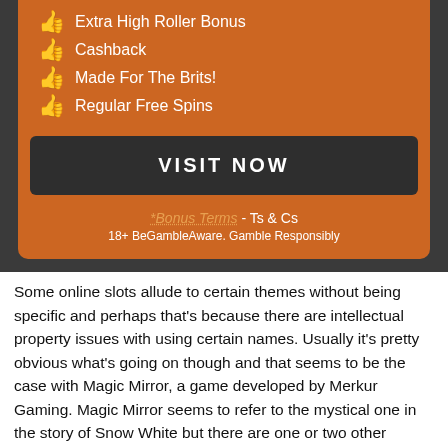Extra High Roller Bonus
Cashback
Made For The Brits!
Regular Free Spins
VISIT NOW
*Bonus Terms - Ts & Cs
18+ BeGambleAware. Gamble Responsibly
Some online slots allude to certain themes without being specific and perhaps that's because there are intellectual property issues with using certain names. Usually it's pretty obvious what's going on though and that seems to be the case with Magic Mirror, a game developed by Merkur Gaming. Magic Mirror seems to refer to the mystical one in the story of Snow White but there are one or two other fairytale items mixed into this game – read all about it below.
Magic Mirror is a five reel slot with three rows and ten